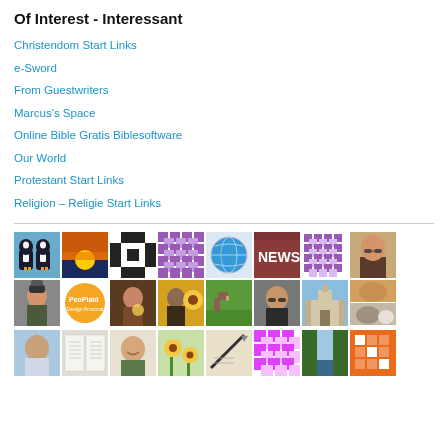Of Interest - Interessant
Christendom Start Links
e-Sword
From Guestwriters
Marcus's Space
Online Bible Gratis Biblesoftware
Our World
Protestant Start Links
Religion – Religie Start Links
[Figure (photo): Grid of thumbnail images including penguins, sunset, patterns, globe, news, people, animals, and miscellaneous photos arranged in three rows]
[Figure (photo): Third row of thumbnail images including a man portrait, book/bible pages, a person, sunflowers, a pen on paper, a geometric purple pattern, a waterfall/nature scene, and an orange geometric logo]